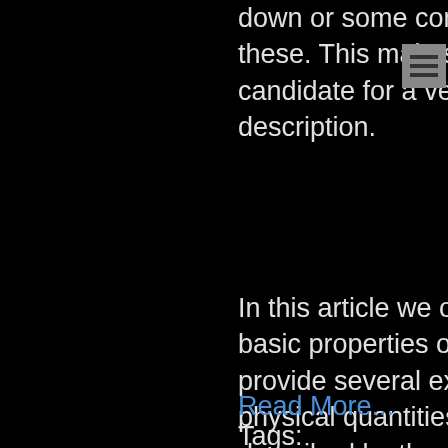down or some combination of these. This makes it a perfect candidate for a vector description.
[Figure (other): Hamburger menu icon (three horizontal lines on gray background)]
In this article we outline the basic properties of vectors, provide several examples of physical quantities that are described by them and also demonstrate how they are used to describe the world.
Read More...
Tags: vectors, geometry